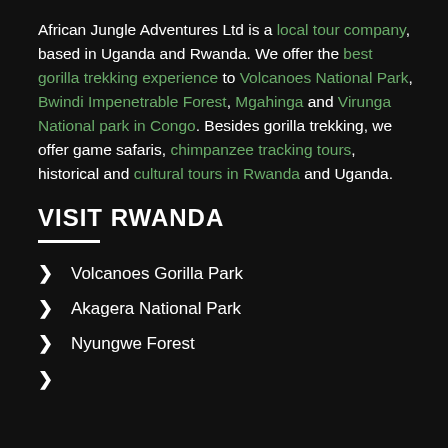African Jungle Adventures Ltd is a local tour company, based in Uganda and Rwanda. We offer the best gorilla trekking experience to Volcanoes National Park, Bwindi Impenetrable Forest, Mgahinga and Virunga National park in Congo. Besides gorilla trekking, we offer game safaris, chimpanzee tracking tours, historical and cultural tours in Rwanda and Uganda.
VISIT RWANDA
Volcanoes Gorilla Park
Akagera National Park
Nyungwe Forest